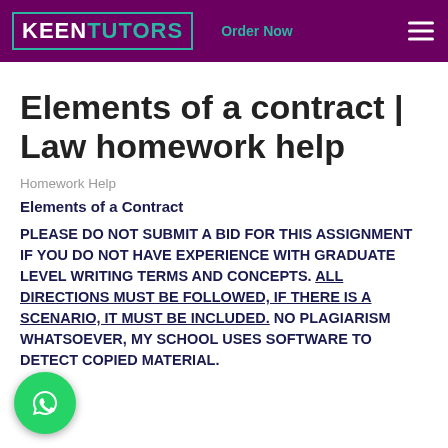KEENTUTORS  Order Now
Elements of a contract | Law homework help
Homework Help
Elements of a Contract
PLEASE DO NOT SUBMIT A BID FOR THIS ASSIGNMENT IF YOU DO NOT HAVE EXPERIENCE WITH GRADUATE LEVEL WRITING TERMS AND CONCEPTS. ALL DIRECTIONS MUST BE FOLLOWED, IF THERE IS A SCENARIO, IT MUST BE INCLUDED. NO PLAGIARISM WHATSOEVER, MY SCHOOL USES SOFTWARE TO DETECT COPIED MATERIAL.
[Figure (logo): WhatsApp floating button icon, green circle with phone handset symbol]